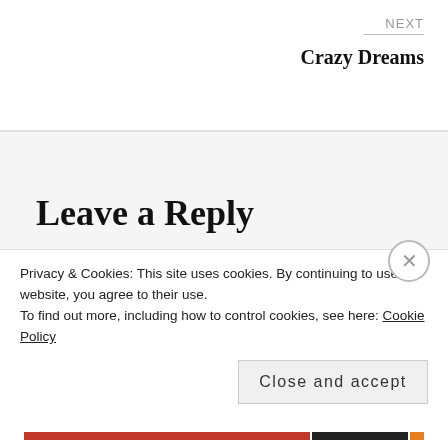NEXT
Crazy Dreams
Leave a Reply
Your email address will not be published. Required fields are marked *
Comment*
Privacy & Cookies: This site uses cookies. By continuing to use this website, you agree to their use.
To find out more, including how to control cookies, see here: Cookie Policy
Close and accept